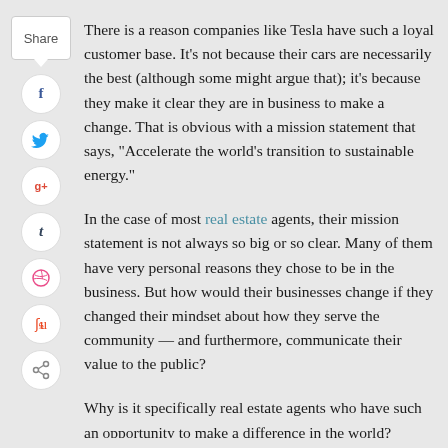[Figure (infographic): Vertical social sharing sidebar with Share button, Facebook, Twitter, Google+, Tumblr, Dribbble, StumbleUpon, and generic share icons]
There is a reason companies like Tesla have such a loyal customer base. It's not because their cars are necessarily the best (although some might argue that); it's because they make it clear they are in business to make a change. That is obvious with a mission statement that says, “Accelerate the world's transition to sustainable energy.”
In the case of most real estate agents, their mission statement is not always so big or so clear. Many of them have very personal reasons they chose to be in the business. But how would their businesses change if they changed their mindset about how they serve the community — and furthermore, communicate their value to the public?
Why is it specifically real estate agents who have such an opportunity to make a difference in the world? Below I’ve outlined five different ways real estate agents can change their businesses to change the world.